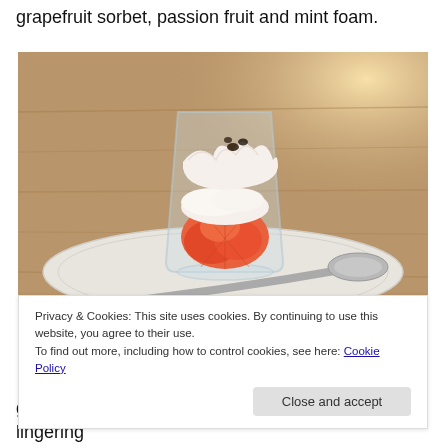grapefruit sorbet, passion fruit and mint foam.
[Figure (photo): A glass containing layered grapefruit sorbet topped with white foam and passion fruit, served on a white plate with a spoon, photographed on a wooden surface with warm backlight.]
Privacy & Cookies: This site uses cookies. By continuing to use this website, you agree to their use.
To find out more, including how to control cookies, see here: Cookie Policy
grapefruit zest and passion fruit, with a light airy lingering